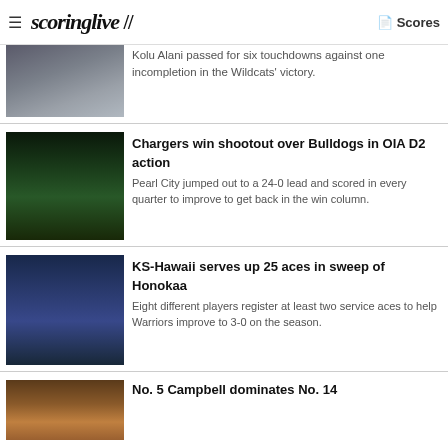scoringlive // Scores
[Figure (photo): Football player in white uniform on field]
Kolu Alani passed for six touchdowns against one incompletion in the Wildcats' victory.
[Figure (photo): Football night game players in white and green uniforms]
Chargers win shootout over Bulldogs in OIA D2 action
Pearl City jumped out to a 24-0 lead and scored in every quarter to improve to get back in the win column.
[Figure (photo): Volleyball players at net in indoor arena]
KS-Hawaii serves up 25 aces in sweep of Honokaa
Eight different players register at least two service aces to help Warriors improve to 3-0 on the season.
[Figure (photo): Sports photo partial view]
No. 5 Campbell dominates No. 14